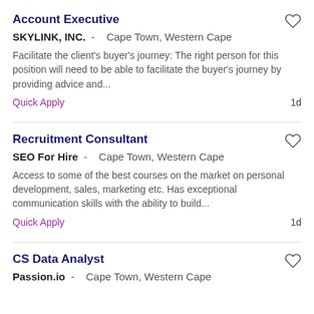Account Executive
SKYLINK, INC. -   Cape Town, Western Cape
Facilitate the client's buyer's journey: The right person for this position will need to be able to facilitate the buyer's journey by providing advice and...
Quick Apply   1d
Recruitment Consultant
SEO For Hire -   Cape Town, Western Cape
Access to some of the best courses on the market on personal development, sales, marketing etc. Has exceptional communication skills with the ability to build...
Quick Apply   1d
CS Data Analyst
Passion.io -   Cape Town, Western Cape